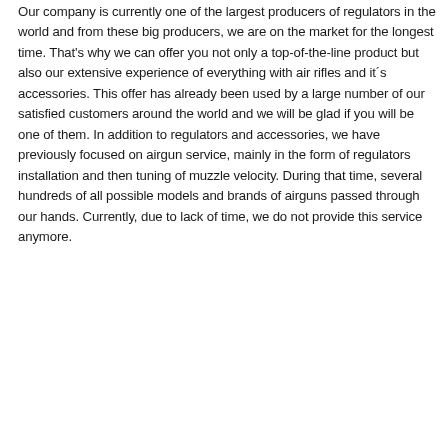Our company is currently one of the largest producers of regulators in the world and from these big producers, we are on the market for the longest time. That's why we can offer you not only a top-of-the-line product but also our extensive experience of everything with air rifles and it´s accessories. This offer has already been used by a large number of our satisfied customers around the world and we will be glad if you will be one of them. In addition to regulators and accessories, we have previously focused on airgun service, mainly in the form of regulators installation and then tuning of muzzle velocity. During that time, several hundreds of all possible models and brands of airguns passed through our hands. Currently, due to lack of time, we do not provide this service anymore.